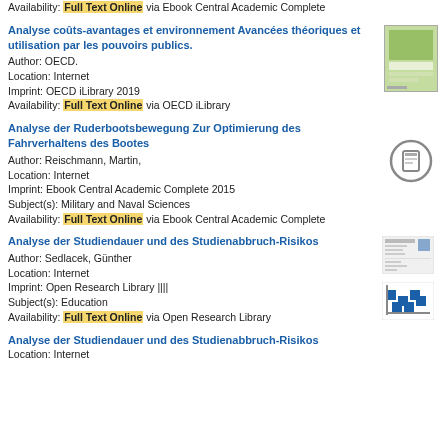Availability: Full Text Online via Ebook Central Academic Complete
Analyse coûts-avantages et environnement Avancées théoriques et utilisation par les pouvoirs publics.
Author: OECD.
Location: Internet
Imprint: OECD iLibrary 2019
Availability: Full Text Online via OECD iLibrary
Analyse der Ruderbootsbewegung Zur Optimierung des Fahrverhaltens des Bootes
Author: Reischmann, Martin,
Location: Internet
Imprint: Ebook Central Academic Complete 2015
Subject(s): Military and Naval Sciences
Availability: Full Text Online via Ebook Central Academic Complete
Analyse der Studiendauer und des Studienabbruch-Risikos
Author: Sedlacek, Günther
Location: Internet
Imprint: Open Research Library ||||
Subject(s): Education
Availability: Full Text Online via Open Research Library
Analyse der Studiendauer und des Studienabbruch-Risikos
Location: Internet